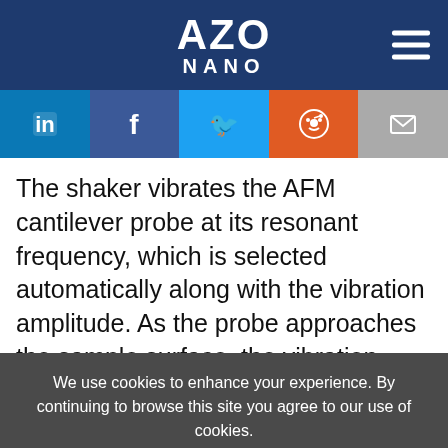AZO NANO
[Figure (logo): AZO NANO website logo with hamburger menu icon on dark blue background]
[Figure (infographic): Social sharing bar with LinkedIn, Facebook, Twitter, Reddit, and Email icons]
The shaker vibrates the AFM cantilever probe at its resonant frequency, which is selected automatically along with the vibration amplitude. As the probe approaches the sample surface, the vibration amplitude reduces. Similarly, as the probe moves away from the surface, there is an increase in amplitude.
We use cookies to enhance your experience. By continuing to browse this site you agree to our use of cookies. More info.
✔ Accept   Cookie Settings